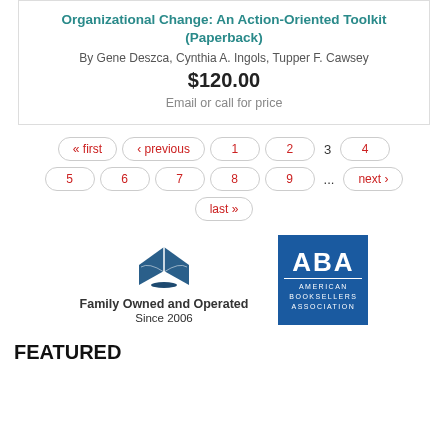Organizational Change: An Action-Oriented Toolkit (Paperback)
By Gene Deszca, Cynthia A. Ingols, Tupper F. Cawsey
$120.00
Email or call for price
« first ‹ previous 1 2 3 4 5 6 7 8 9 ... next › last »
[Figure (logo): Family Owned and Operated Since 2006 logo with open book icon]
[Figure (logo): American Booksellers Association (ABA) logo badge in blue]
FEATURED